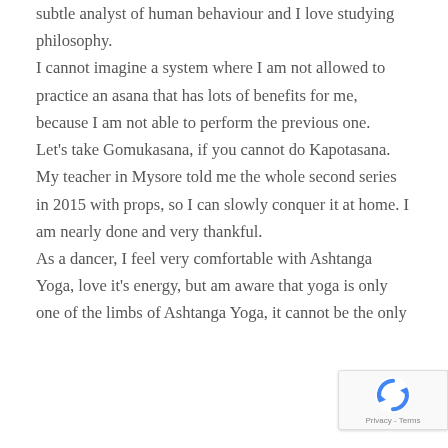subtle analyst of human behaviour and I love studying philosophy.
I cannot imagine a system where I am not allowed to practice an asana that has lots of benefits for me, because I am not able to perform the previous one.
Let's take Gomukasana, if you cannot do Kapotasana.
My teacher in Mysore told me the whole second series in 2015 with props, so I can slowly conquer it at home. I am nearly done and very thankful.
As a dancer, I feel very comfortable with Ashtanga Yoga, love it's energy, but am aware that yoga is only one of the limbs of Ashtanga Yoga, it cannot be the only
[Figure (logo): reCAPTCHA badge with spinning arrow logo and 'Privacy - Terms' text]